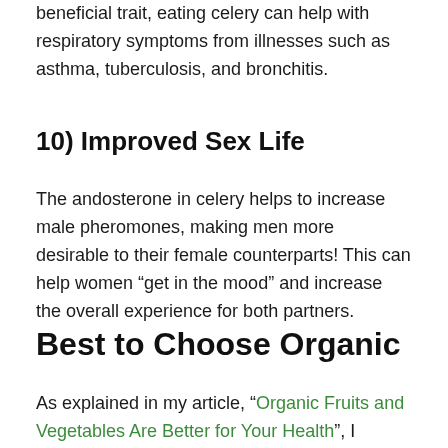beneficial trait, eating celery can help with respiratory symptoms from illnesses such as asthma, tuberculosis, and bronchitis.
10) Improved Sex Life
The andosterone in celery helps to increase male pheromones, making men more desirable to their female counterparts! This can help women “get in the mood” and increase the overall experience for both partners.
Best to Choose Organic
As explained in my article, “Organic Fruits and Vegetables Are Better for Your Health”, I always recommend purchasing organic fruits and vegetables when available in your local region. Make